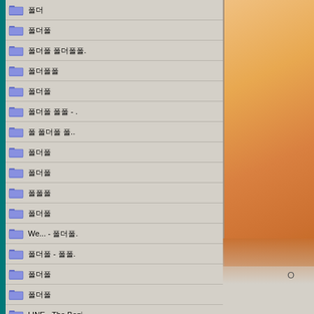[Figure (screenshot): Windows file explorer panel showing a list of folders with blue folder icons and Korean/English text labels, alongside a right panel showing an orange/tan book or document image]
폴더
폴더
폴더 폴더폴더.
폴더폴더
폴더폴
폴더 폴더 - .
폴 폴더폴 폴..
폴더폴
폴더폴
폴폴폴
폴더폴
We... - 폴더폴.
폴더폴 - 폴폴.
폴더폴
폴더폴
LINE - The Begi.
폴더폴 Analog.
폴더폴
폴 폴더폴 - 6폴.
폴더폴
폴더폴 폴더폴.
폴폴